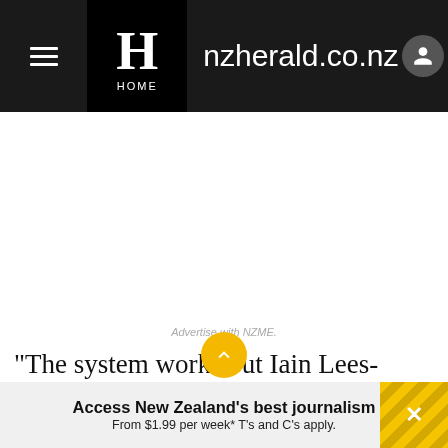nzherald.co.nz
Advertise with NZME.
"The system works but Iain Lees-Galloway stuffed up. This report cost taxpayers $155,000, more than most New Zealanders earn a year to tell us what we already knew."
Access New Zealand's best journalism From $1.99 per week* T's and C's apply.